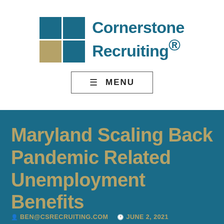[Figure (logo): Cornerstone Recruiting logo with teal and gold grid squares and teal text]
≡ MENU
Maryland Scaling Back Pandemic Related Unemployment Benefits
BEN@CSRECRUITING.COM   JUNE 2, 2021